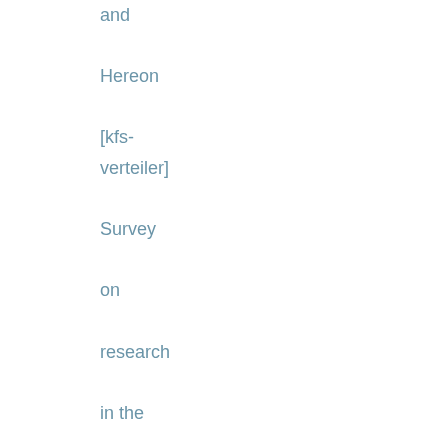and Hereon [kfs-verteiler] Survey on research in the pandemic [kfs-verteiler] New KFS members, corona resarch, ErUM-Data